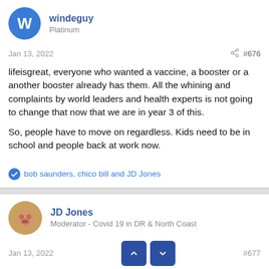windeguy
Platinum
Jan 13, 2022
#676
lifeisgreat, everyone who wanted a vaccine, a booster or a another booster already has them. All the whining and complaints by world leaders and health experts is not going to change that now that we are in year 3 of this.
So, people have to move on regardless. Kids need to be in school and people back at work now.
bob saunders, chico bill and JD Jones
JD Jones
Moderator - Covid 19 in DR & North Coast
Jan 13, 2022
#677